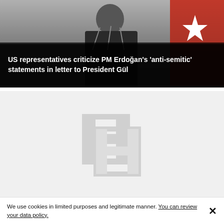[Figure (photo): Photo of a person in a dark suit speaking at a podium with microphones, with a red Turkish flag visible in the background. Dark overlay at bottom with headline text.]
US representatives criticize PM Erdoğan's 'anti-semitic' statements in letter to President Gül
[Figure (logo): Placeholder image with a grey stylized H logo on light grey background]
We use cookies in limited purposes and legitimate manner. You can review your data policy.